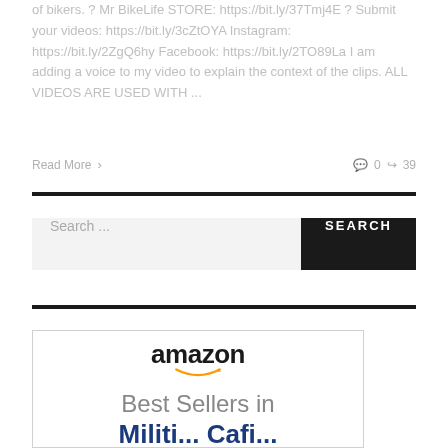of bikers. ? Mr BikeLife STORE: https://bit.ly/37Tmj4E ? Submit your videos: https://bit.ly/3cZtOYA Instagram: https://bit.ly/2ZgQ6hy Facebook: https://bit.ly/2TO89La I am adding a voice to my video to explain the context of the clips. ALL VIDEOS ARE USED WITH ...
Read More >    0  39
[Figure (screenshot): Search bar with text 'Search ...' and a black 'SEARCH' button]
[Figure (logo): Amazon logo with smile arrow, followed by 'Best Sellers in' text and partial blue text below]